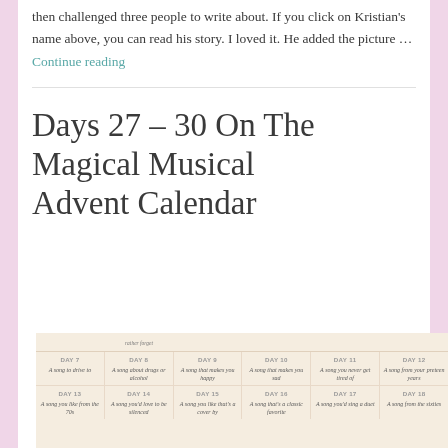then challenged three people to write about. If you click on Kristian's name above, you can read his story. I loved it. He added the picture … Continue reading
Days 27 – 30 On The Magical Musical Advent Calendar
[Figure (infographic): Partial view of a musical advent calendar grid showing days 7–18 with descriptions of song categories for each day. Warm cream/beige background. Day 7: A song to drive to, Day 8: A song about drugs or alcohol, Day 9: A song that makes you happy, Day 10: A song that makes you sad, Day 11: A song you never get tired of, Day 12: A song from your preteen years, Day 13: A song you like from the 70s, Day 14: A song you'd love to be silenced, Day 15: A song you like that's a cover by, Day 16: A song that's a classic favorite, Day 17: A song you'd sing a duet, Day 18: A song from the sixties.]